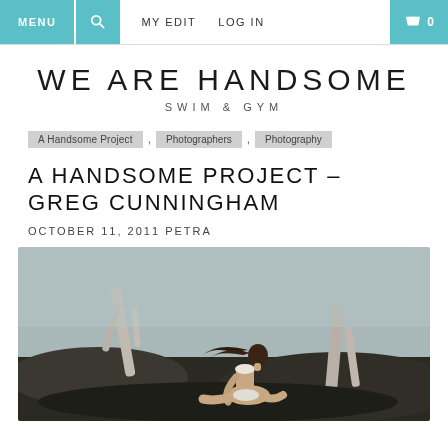MENU | [search] | MY EDIT | LOG IN | [cart] 0
WE ARE HANDSOME
SWIM & GYM
A Handsome Project , Photographers , Photography
A HANDSOME PROJECT – GREG CUNNINGHAM
OCTOBER 11, 2011 PETRA
[Figure (photo): A woman in a white bikini posing on dark rocks outdoors with bare tree trunks and a misty sky background, hair flowing, looking upward]